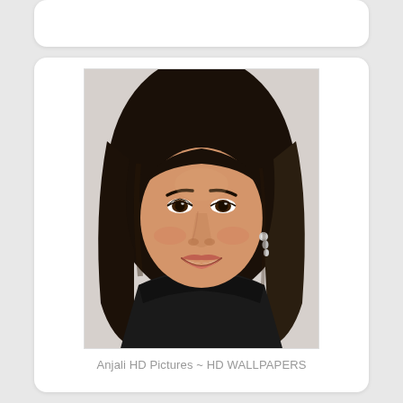[Figure (photo): Portrait photo of a young woman with long dark hair, wearing a black sleeveless top and dangling earrings, smiling, against a light grey background.]
Anjali HD Pictures ~ HD WALLPAPERS